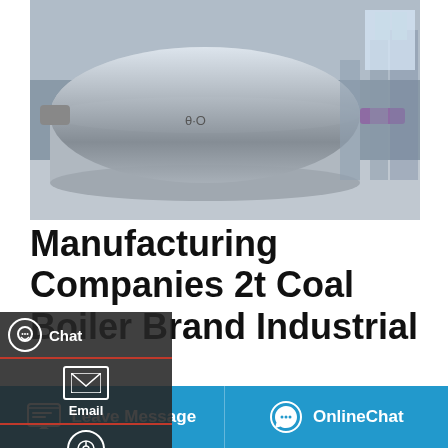[Figure (photo): Industrial boiler equipment in a factory/warehouse setting. Large cylindrical metallic boiler tank visible prominently.]
Manufacturing Companies 2t Coal Boiler Brand Industrial
2t biomass Boiler For Sale High Efficiency Belarus. High Efficiency Low Price 2t coal boiler Turkey. 0 3t h hay steam boiler - kasteelvisie.nl. Steam generator boiler. fast assemble tobacco powder grate boiler for beverage Brief Intro :YLW series co biomass fired thermic fluid heater is an safe and energy saving it could get temperature (350) under a low working
[Figure (screenshot): WhatsApp sticker save panel with purple/pink gradient background showing 'Save Stickers on WhatsApp' with WhatsApp and WeChat icons]
Leave Message  OnlineChat